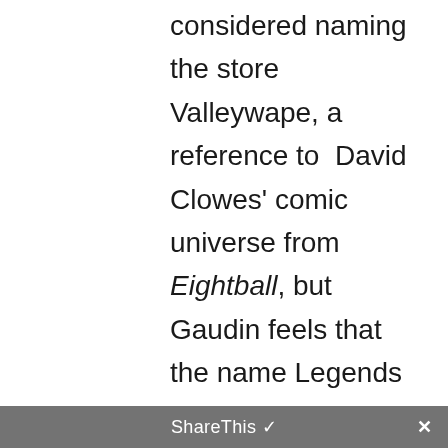considered naming the store Valleywape, a reference to David Clowes' comic universe from Eightball, but Gaudin feels that the name Legends Comics and Books is part of the community now.
Golden Age History
The store's location on Johnson Street, the same location since its opening, is also historic. In the 1800s, the site was one of the first graveyards in Victoria. In 1859, following complaints from residents over ground quality, the cemetery's inhabitants were moved by a
ShareThis ✓